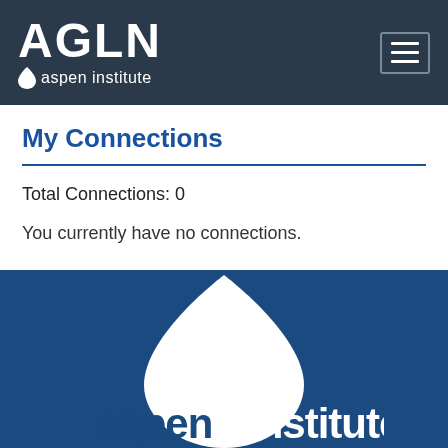AGLN aspen institute
My Connections
Total Connections: 0
You currently have no connections.
[Figure (logo): Aspen Institute logo with Drupal drop icon and 'aspen institute' wordmark on dark blue background]